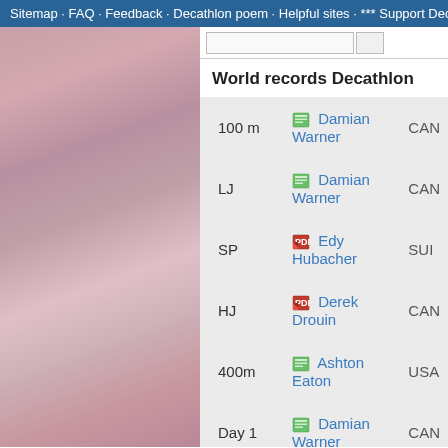Sitemap · FAQ · Feedback · Decathlon poem · Helpful sites · *** Support Decathlon
World records Decathlon
| Event | Athlete | Country |
| --- | --- | --- |
| 100 m | Damian Warner | CAN |
| LJ | Damian Warner | CAN |
| SP | Edy Hubacher | SUI |
| HJ | Derek Drouin | CAN |
| 400m | Ashton Eaton | USA |
| Day 1 | Damian Warner | CAN |
|  | Dan O'Brien | USA |